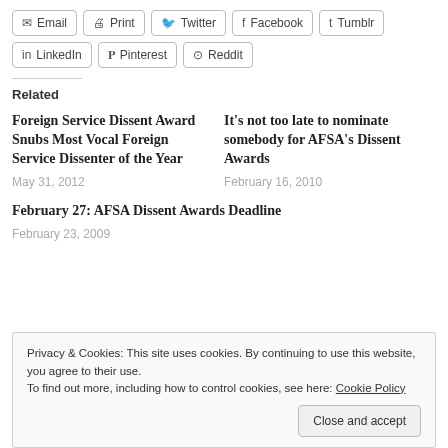Email | Print | Twitter | Facebook | Tumblr | LinkedIn | Pinterest | Reddit
Related
Foreign Service Dissent Award Snubs Most Vocal Foreign Service Dissenter of the Year
May 31, 2012
It’s not too late to nominate somebody for AFSA’s Dissent Awards
February 16, 2010
February 27: AFSA Dissent Awards Deadline
February 23, 2009
Privacy & Cookies: This site uses cookies. By continuing to use this website, you agree to their use.
To find out more, including how to control cookies, see here: Cookie Policy